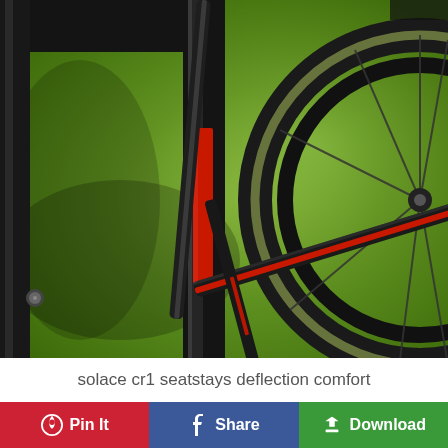[Figure (photo): Close-up photograph of a road bicycle's rear triangle showing seatstays and chainstays with red accents on a black carbon frame, partially overlapping a rear wheel with a tan/green-sidewall tire. Green grass background.]
solace cr1 seatstays deflection comfort
Pin It
Share
Download